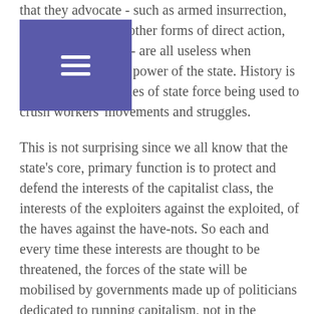that they advocate - such as armed insurrection, general strikes and other forms of direct action, including terrorism - are all useless when confronted with the power of the state. History is littered with examples of state force being used to crush workers' movements and struggles.
This is not surprising since we all know that the state's core, primary function is to protect and defend the interests of the capitalist class, the interests of the exploiters against the exploited, of the haves against the have-nots. So each and every time these interests are thought to be threatened, the forces of the state will be mobilised by governments made up of politicians dedicated to running capitalism, not in the interests of the vast majority - the working class, but in the interests of the minority - the capitalist class.
That is why the SPGB and our fellow Socialists in other